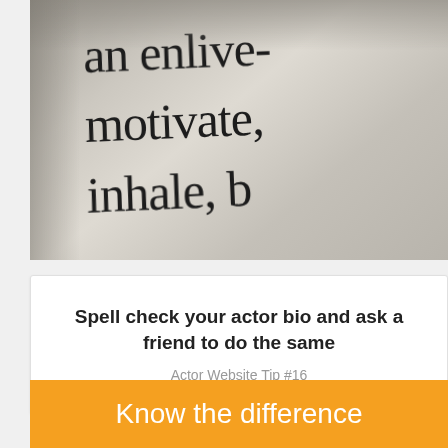[Figure (photo): Close-up photograph of dictionary or book pages showing words 'an enlive-', 'motivate,' and 'inhale, b' in large serif font on cream/gray paper]
Spell check your actor bio and ask a friend to do the same
Actor Website Tip #16
Know the difference